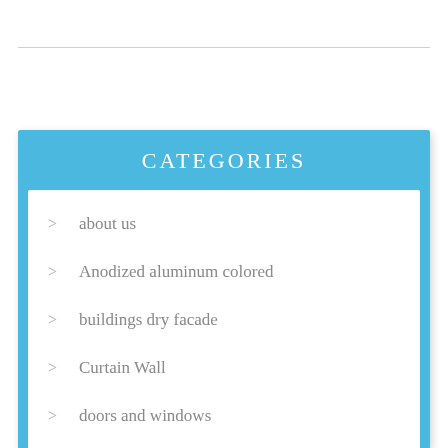CATEGORIES
about us
Anodized aluminum colored
buildings dry facade
Curtain Wall
doors and windows
Electrostatic color
Factory Units
Frameless
glass fances